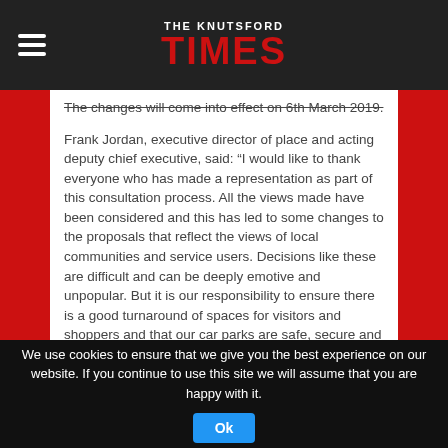THE KNUTSFORD TIMES
The changes will come into effect on 6th March 2019.
Frank Jordan, executive director of place and acting deputy chief executive, said: “I would like to thank everyone who has made a representation as part of this consultation process. All the views made have been considered and this has led to some changes to the proposals that reflect the views of local communities and service users. Decisions like these are difficult and can be deeply emotive and unpopular. But it is our responsibility to ensure there is a good turnaround of spaces for visitors and shoppers and that our car parks are safe, secure and well maintained.”
We use cookies to ensure that we give you the best experience on our website. If you continue to use this site we will assume that you are happy with it.